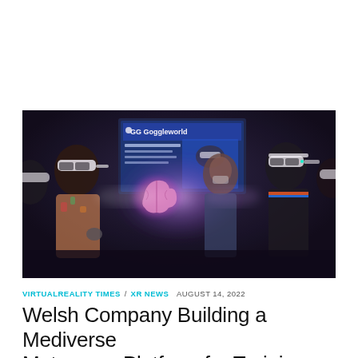[Figure (photo): People wearing VR headsets in a dark room, with a glowing holographic brain visible in the center, and a Goggleworld banner/screen in the background showing healthcare simulation training content.]
VIRTUALREALITY TIMES / XR NEWS AUGUST 14, 2022
Welsh Company Building a Mediverse Metaverse Platform for Training Healthcare